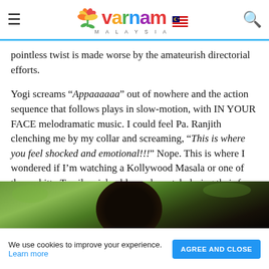Varnam Malaysia
pointless twist is made worse by the amateurish directorial efforts.
Yogi screams “Appaaaaaa” out of nowhere and the action sequence that follows plays in slow-motion, with IN YOUR FACE melodramatic music. I could feel Pa. Ranjith clenching me by my collar and screaming, “This is where you feel shocked and emotional!!!” Nope. This is where I wondered if I’m watching a Kollywood Masala or one of those shitty Tamil serials old people watch during their free time.
[Figure (photo): Partially visible photo showing dark hair (a person's head) against a greenish outdoor background with blurred foliage.]
We use cookies to improve your experience. Learn more   AGREE AND CLOSE